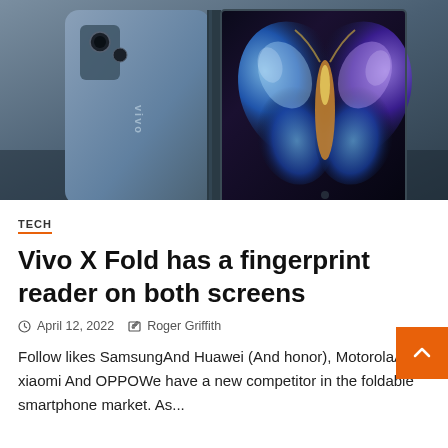[Figure (photo): Vivo X Fold foldable smartphone shown from behind and open, with a butterfly wallpaper on the inner display. Blue/grey color scheme.]
TECH
Vivo X Fold has a fingerprint reader on both screens
April 12, 2022   Roger Griffith
Follow likes SamsungAnd Huawei (And honor), MotorolaAnd xiaomi And OPPOWe have a new competitor in the foldable smartphone market. As...